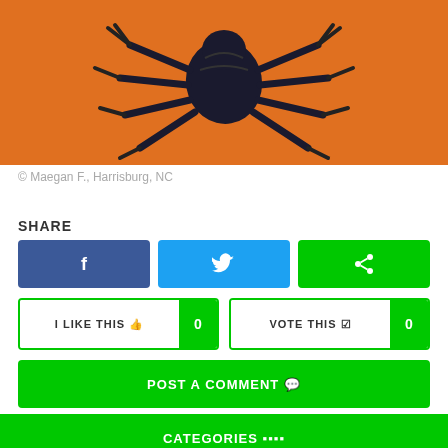[Figure (illustration): Painting of a dark spider/crab-like creature on an orange background]
© Maegan F., Harrisburg, NC
SHARE
[Figure (infographic): Three share buttons: Facebook (blue), Twitter (cyan), and a green share button]
[Figure (infographic): I LIKE THIS button with count 0 and VOTE THIS button with count 0]
POST A COMMENT
CATEGORIES